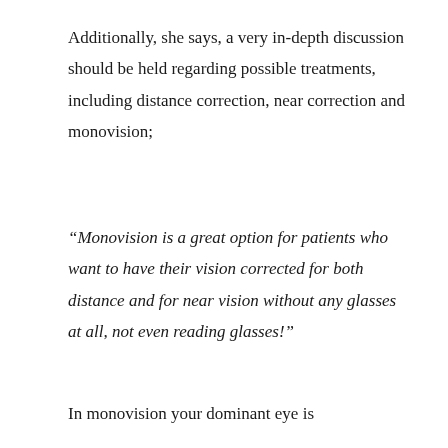Additionally, she says, a very in-depth discussion should be held regarding possible treatments, including distance correction, near correction and monovision;
“Monovision is a great option for patients who want to have their vision corrected for both distance and for near vision without any glasses at all, not even reading glasses!”
In monovision your dominant eye is